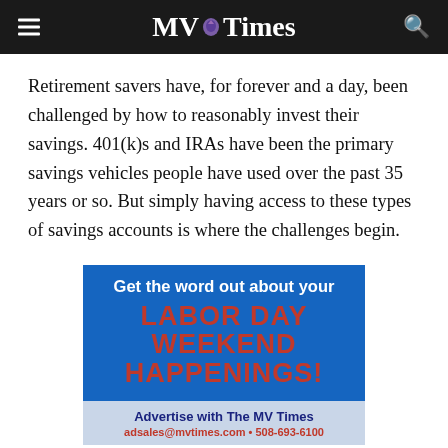MV Times
Retirement savers have, for forever and a day, been challenged by how to reasonably invest their savings. 401(k)s and IRAs have been the primary savings vehicles people have used over the past 35 years or so. But simply having access to these types of savings accounts is where the challenges begin.
[Figure (other): Advertisement for MV Times: 'Get the word out about your LABOR DAY WEEKEND HAPPENINGS! Advertise with The MV Times adsales@mvtimes.com • 508-693-6100']